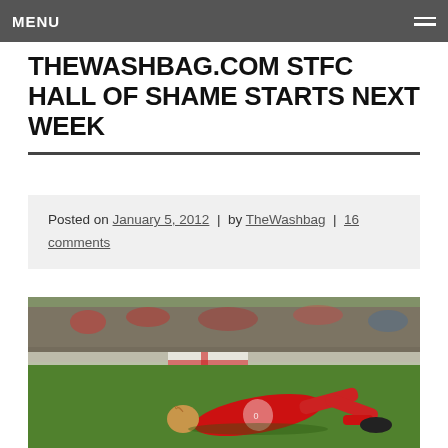MENU
THEWASHBAG.COM STFC HALL OF SHAME STARTS NEXT WEEK
Posted on January 5, 2012 | by TheWashbag | 16 comments
[Figure (photo): A footballer in a red kit lying on the ground on a grass pitch, hands on his head, appearing dejected. A crowd and advertising boards are visible in the blurred background.]